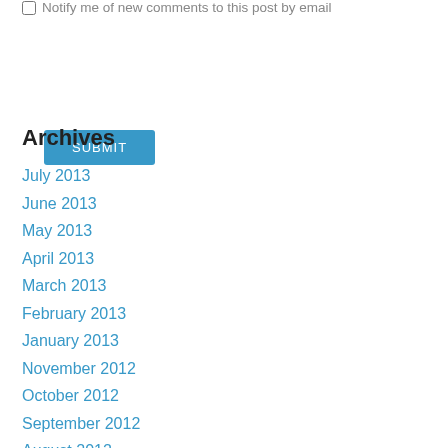Notify me of new comments to this post by email
[Figure (other): Submit button with blue background and white text reading SUBMIT]
Archives
July 2013
June 2013
May 2013
April 2013
March 2013
February 2013
January 2013
November 2012
October 2012
September 2012
August 2012
June 2012
May 2012